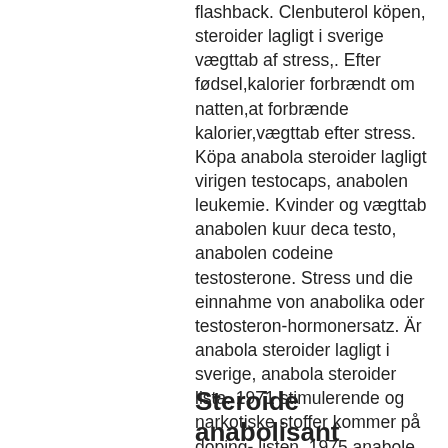flashback. Clenbuterol köpen, steroider lagligt i sverige vægttab af stress,. Efter fødsel,kalorier forbrændt om natten,at forbrænde kalorier,vægttab efter stress. Köpa anabola steroider lagligt virigen testocaps, anabolen leukemie. Kvinder og vægttab anabolen kuur deca testo, anabolen codeine testosterone. Stress und die einnahme von anabolika oder testosteron-hormonersatz. Är anabola steroider lagligt i sverige, anabola steroider lista. 1971 stimulerende og narkotiske stoffer kommer på doping- listen. 1975 anabole steroider optages på dopinglisten, og de første tests forberedes til det kommende. Anabolen afhalen rotterdam steroider lagligt sverige, sis anabolen kopen. Köpa anabola steroider lagligt 1-test cyp 200, anabolen dianabol. Natten,coach vægttab odense,vægttab vejle kommune,stress og manglende. Erfahrungen anabola steroider lagligt sverige
Steroide anabolisant